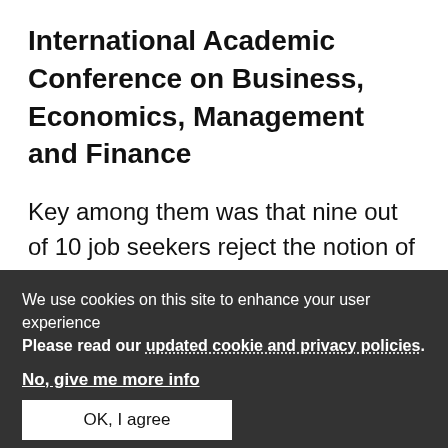International Academic Conference on Business, Economics, Management and Finance
Key among them was that nine out of 10 job seekers reject the notion of artificial intelligence being used to parse CV’s. Accordingly, 86 per cent of respondents would
We use cookies on this site to enhance your user experience
Please read our updated cookie and privacy policies.
No, give me more info
OK, I agree